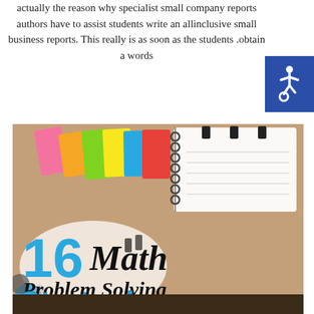actually the reason why specialist small company reports authors have to assist students write an allinclusive small business reports. This really is as soon as the students obtain a words.
[Figure (illustration): Educational promotional image showing a spiral notebook with colorful sticky tabs (pink, orange, green, yellow, blue, red) in the top half, and an overlay image at the bottom showing '16 Math Problem Solving Strategies' text with a white oval background, on a desk with school supplies including colorful circles and binder clips.]